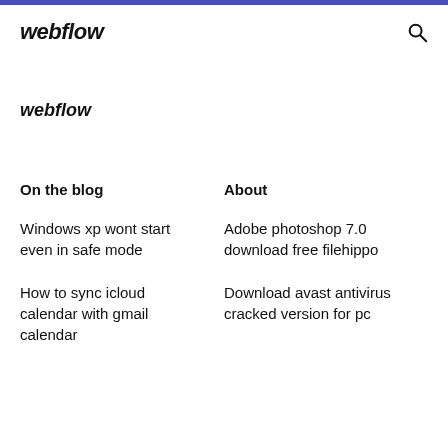webflow
webflow
On the blog
About
Windows xp wont start even in safe mode
Adobe photoshop 7.0 download free filehippo
How to sync icloud calendar with gmail calendar
Download avast antivirus cracked version for pc